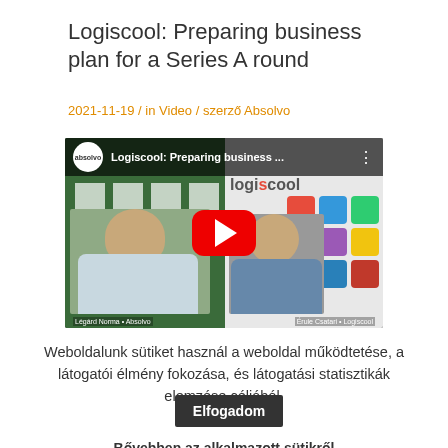Logiscool: Preparing business plan for a Series A round
2021-11-19  /  in Video  /  szerző Absolvo
[Figure (screenshot): YouTube video thumbnail showing two men in a video call with Logiscool branding. Video title: 'Logiscool: Preparing business ...'. Left person labeled 'Légárd Norma - Absolvo', right person labeled 'Érule Csatari - Logiscool'. Large red YouTube play button in center.]
Weboldalunk sütiket használ a weboldal működtetése, a látogatói élmény fokozása, és látogatási statisztikák elemzése céljából.
Elfogadom
Bővebben az alkalmazott sütikről